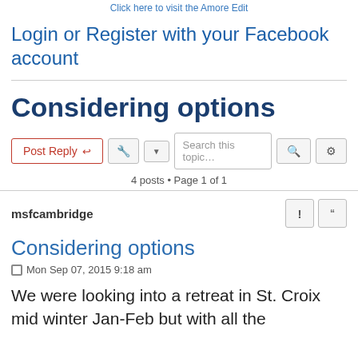Click here to visit the Amore Edit
Login or Register with your Facebook account
Considering options
4 posts • Page 1 of 1
msfcambridge
Considering options
Mon Sep 07, 2015 9:18 am
We were looking into a retreat in St. Croix mid winter Jan-Feb but with all the